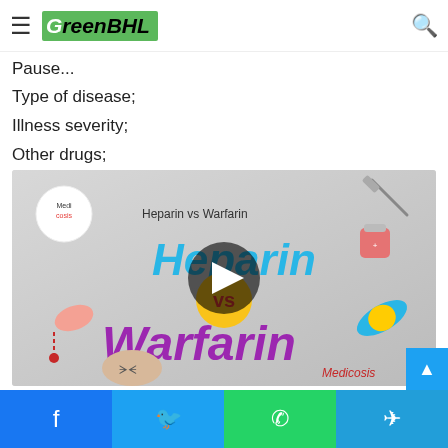GreenBHL
of drug, and how to use it, including:
Pause...
Type of disease;
Illness severity;
Other drugs;
[Figure (screenshot): YouTube video thumbnail for 'Heparin vs Warfarin' by Medicosis channel, showing illustrated text 'Heparin vs Warfarin' in blue and purple with medical illustrations and a play button overlay.]
Social sharing bar: Facebook, Twitter, WhatsApp, Telegram